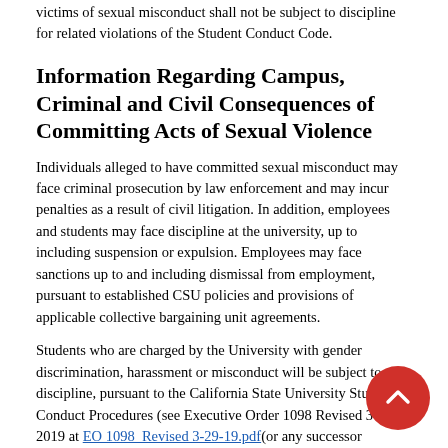victims of sexual misconduct shall not be subject to discipline for related violations of the Student Conduct Code.
Information Regarding Campus, Criminal and Civil Consequences of Committing Acts of Sexual Violence
Individuals alleged to have committed sexual misconduct may face criminal prosecution by law enforcement and may incur penalties as a result of civil litigation. In addition, employees and students may face discipline at the university, up to including suspension or expulsion. Employees may face sanctions up to and including dismissal from employment, pursuant to established CSU policies and provisions of applicable collective bargaining unit agreements.
Students who are charged by the University with gender discrimination, harassment or misconduct will be subject to discipline, pursuant to the California State University Student Conduct Procedures (see Executive Order 1098 Revised 3-29-2019 at EO 1098_Revised 3-29-19.pdf(or any successor executive order) and will be subject to appropriate sanctions.